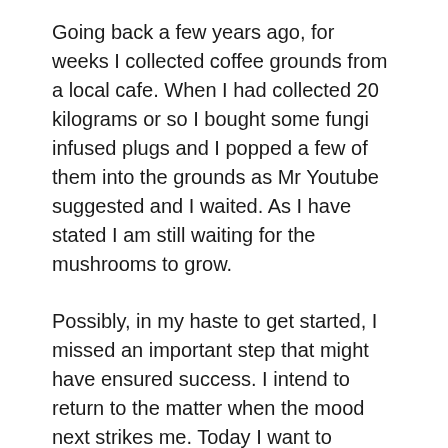Going back a few years ago, for weeks I collected coffee grounds from a local cafe. When I had collected 20 kilograms or so I bought some fungi infused plugs and I popped a few of them into the grounds as Mr Youtube suggested and I waited. As I have stated I am still waiting for the mushrooms to grow.
Possibly, in my haste to get started, I missed an important step that might have ensured success. I intend to return to the matter when the mood next strikes me. Today I want to discuss coffee and something about the environmental issues that flow from our daily drink.
We never see how much waste our cup costs the planet. Here are some of the things you should know. Rather than start with my cup I would prefer we visit the steamy hills where coffee cherries grow. Grown naturally the coffee plant grows in the shade of a mixture of other trees. This